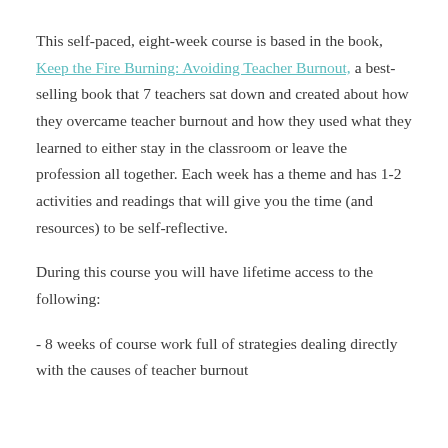This self-paced, eight-week course is based in the book, Keep the Fire Burning: Avoiding Teacher Burnout, a best-selling book that 7 teachers sat down and created about how they overcame teacher burnout and how they used what they learned to either stay in the classroom or leave the profession all together. Each week has a theme and has 1-2 activities and readings that will give you the time (and resources) to be self-reflective.
During this course you will have lifetime access to the following:
- 8 weeks of course work full of strategies dealing directly with the causes of teacher burnout